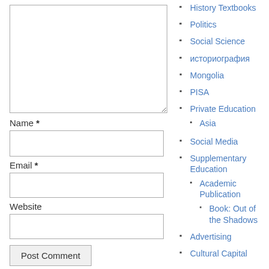[Comment textarea]
Name *
[Name input]
Email *
[Email input]
Website
[Website input]
Post Comment
History Textbooks
Politics
Social Science
историография
Mongolia
PISA
Private Education
Asia
Social Media
Supplementary Education
Academic Publication
Book: Out of the Shadows
Advertising
Cultural Capital